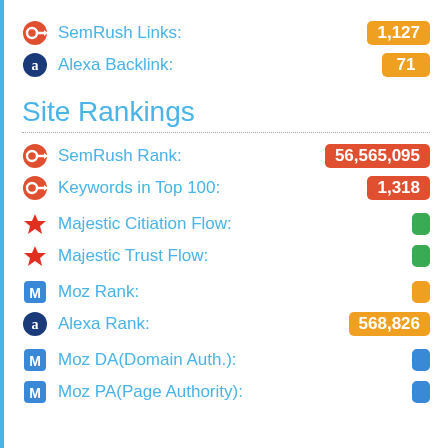SemRush Links: 1,127
Alexa Backlink: 71
Site Rankings
SemRush Rank: 56,565,095
Keywords in Top 100: 1,318
Majestic Citiation Flow: -
Majestic Trust Flow: -
Moz Rank: -
Alexa Rank: 568,826
Moz DA(Domain Auth.): -
Moz PA(Page Authority): -